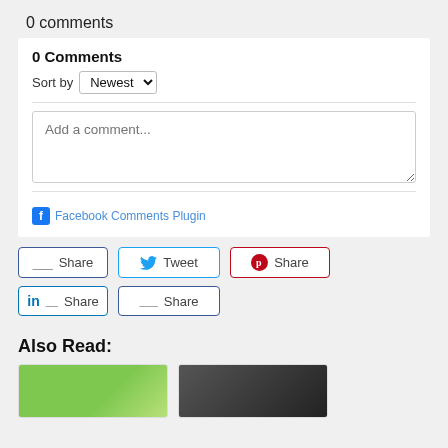0 comments
0 Comments
Sort by Newest
Add a comment...
Facebook Comments Plugin
Share  Tweet  Share  Share  Share
Also Read:
[Figure (photo): Two thumbnail images partially visible at bottom of page]